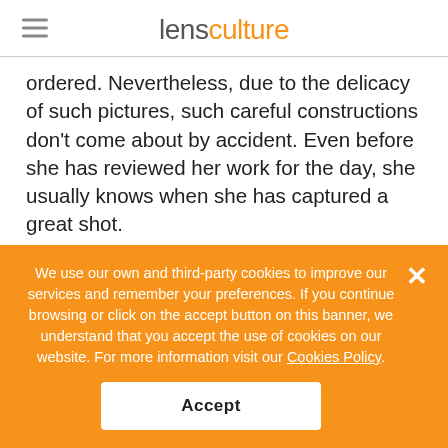lensculture
ordered. Nevertheless, due to the delicacy of such pictures, such careful constructions don't come about by accident. Even before she has reviewed her work for the day, she usually knows when she has captured a great shot.
Yet sometimes, still, an unexpected, yet instinctive pull of the trigger can capture a magical moment as well. For example, the final photo in the slideshow above, "Marrakesh. Morocco" was a moment of pure reaction, of feeling rather than conscious thought. Wordlessly, a
We use our own and third-party cookies to improve our services and remember your preferences. If you continue browsing or click on the accept button on this banner, we understand that you accept the use of cookies on our website. For more information visit our Cookies Policy.
Accept